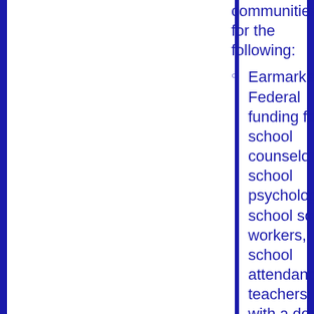communities) for the following:
Earmarked Federal funding for school counselors, school psychologists, school social workers, school attendance teachers, etc. with a defined caseload, e.g. 120/1.
Earmarked Federal funding to provide sufficient security personnel who will also be trained to gain the confidence of students to relate any concerns.
Earmarked Federal funding for community organizations that have experience working with students to prevent acts